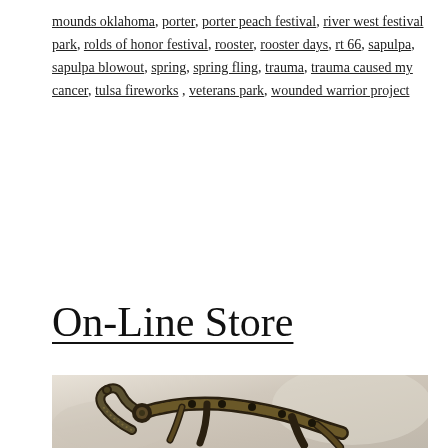mounds oklahoma, porter, porter peach festival, river west festival park, rolds of honor festival, rooster, rooster days, rt 66, sapulpa, sapulpa blowout, spring, spring fling, trauma, trauma caused my cancer, tulsa fireworks , veterans park, wounded warrior project
On-Line Store
[Figure (photo): A macramé or paracord woven animal figure (resembling a lizard or gecko) made from dark olive/black cord, photographed against a white fabric background.]